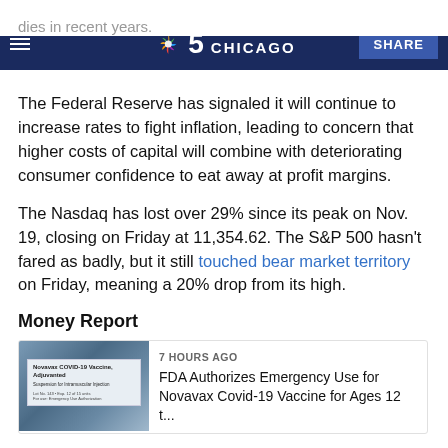NBC 5 Chicago
The Federal Reserve has signaled it will continue to increase rates to fight inflation, leading to concern that higher costs of capital will combine with deteriorating consumer confidence to eat away at profit margins.
The Nasdaq has lost over 29% since its peak on Nov. 19, closing on Friday at 11,354.62. The S&P 500 hasn't fared as badly, but it still touched bear market territory on Friday, meaning a 20% drop from its high.
Money Report
[Figure (photo): Novavax COVID-19 vaccine box/label]
7 HOURS AGO
FDA Authorizes Emergency Use for Novavax Covid-19 Vaccine for Ages 12 t...